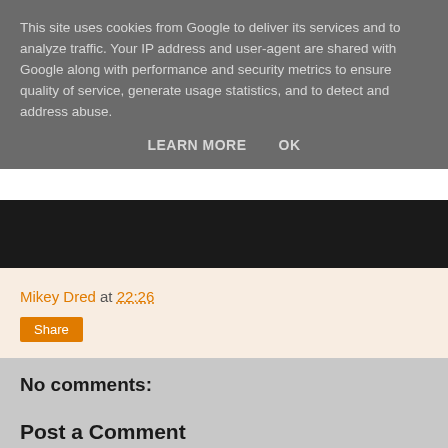This site uses cookies from Google to deliver its services and to analyze traffic. Your IP address and user-agent are shared with Google along with performance and security metrics to ensure quality of service, generate usage statistics, and to detect and address abuse.
LEARN MORE   OK
Mikey Dred at 22:26
Share
No comments:
Post a Comment
Thanks for interacting